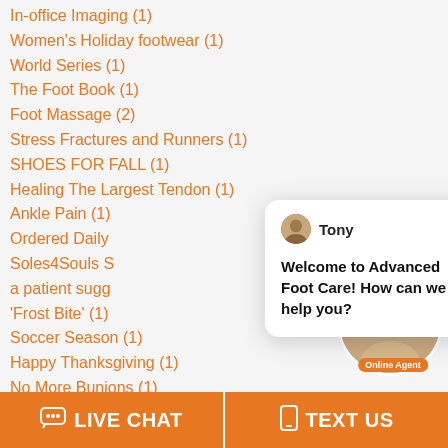In-office Imaging (1)
Women's Holiday footwear (1)
World Series (1)
The Foot Book (1)
Foot Massage (2)
Stress Fractures and Runners (1)
SHOES FOR FALL (1)
Healing The Largest Tendon (1)
Ankle Pain (1)
Ordered Daily...
Soles4Souls S...
a patient sugg...
'Frost Bite' (1)
Soccer Season (1)
Happy Thanksgiving (1)
No More Bunions (1)
Children Foot (1)
Hallux Limitus (1)
[Figure (screenshot): Chat popup from Tony at Advanced Foot Care saying: Welcome to Advanced Foot Care! How can we help you?]
[Figure (photo): Online agent avatar with orange badge showing '1' and green dot indicating online status, with 'Online Agent' label]
LIVE CHAT
TEXT US